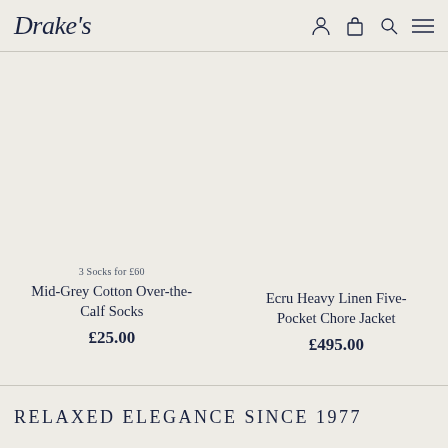Drake's
3 Socks for £60
Mid-Grey Cotton Over-the-Calf Socks
£25.00
Ecru Heavy Linen Five-Pocket Chore Jacket
£495.00
RELAXED ELEGANCE SINCE 1977